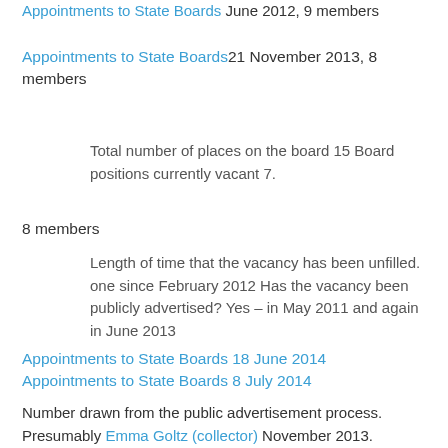Appointments to State Boards June 2012, 9 members
Appointments to State Boards21 November 2013, 8 members
Total number of places on the board 15 Board positions currently vacant 7.
8 members
Length of time that the vacancy has been unfilled. one since February 2012 Has the vacancy been publicly advertised? Yes – in May 2011 and again in June 2013
Appointments to State Boards 18 June 2014 Appointments to State Boards 8 July 2014
Number drawn from the public advertisement process. Presumably Emma Goltz (collector) November 2013.
04/09/2013 Minister...